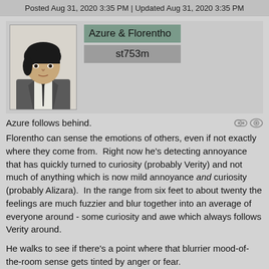Posted Aug 31, 2020 3:35 PM | Updated Aug 31, 2020 3:35 PM
[Figure (photo): Profile picture of a young person with dark hair wearing a vest and tie]
Azure & Florentho
st753m
Azure follows behind.
Florentho can sense the emotions of others, even if not exactly where they come from.  Right now he's detecting annoyance that has quickly turned to curiosity (probably Verity) and not much of anything which is now mild annoyance and curiosity (probably Alizara).  In the range from six feet to about twenty the feelings are much fuzzier and blur together into an average of everyone around - some curiosity and awe which always follows Verity around.
He walks to see if there's a point where that blurrier mood-of-the-room sense gets tinted by anger or fear.